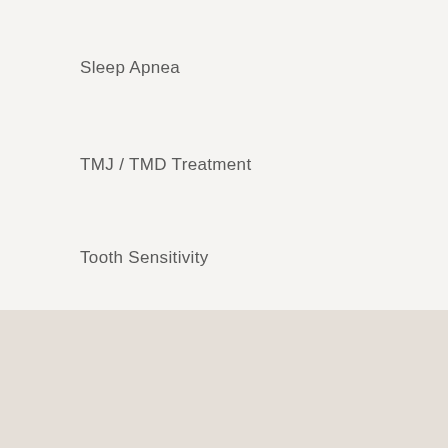Sleep Apnea
TMJ / TMD Treatment
Tooth Sensitivity
Services We Offer
Comfortable Dentistry